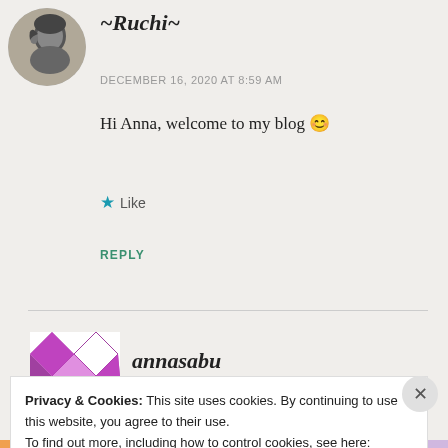[Figure (photo): Circular avatar photo of a man looking down, black and white, positioned top left]
~Ruchi~
DECEMBER 16, 2020 AT 8:59 AM
Hi Anna, welcome to my blog 😊
★ Like
REPLY
[Figure (illustration): Square avatar with purple and white diamond/check pattern, partially visible, for user annasabu]
annasabu
Privacy & Cookies: This site uses cookies. By continuing to use this website, you agree to their use.
To find out more, including how to control cookies, see here: Cookie Policy
Close and accept